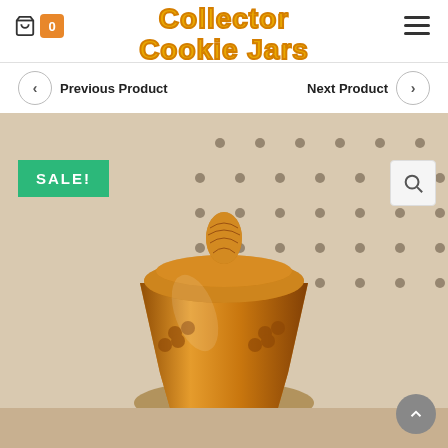Collector Cookie Jars
Previous Product
Next Product
[Figure (photo): Amber carnival glass cookie jar with pineapple finial lid, grape pattern, displayed on pegboard background. Has a green SALE! badge overlay.]